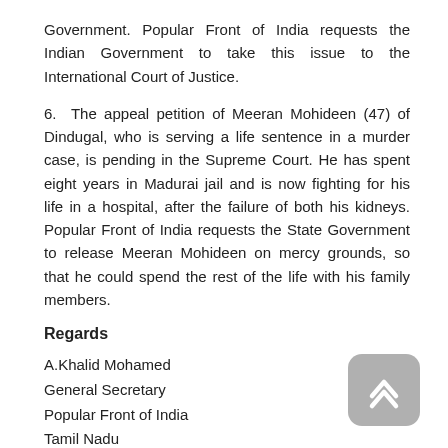Government. Popular Front of India requests the Indian Government to take this issue to the International Court of Justice.
6.  The appeal petition of Meeran Mohideen (47) of Dindugal, who is serving a life sentence in a murder case, is pending in the Supreme Court. He has spent eight years in Madurai jail and is now fighting for his life in a hospital, after the failure of both his kidneys. Popular Front of India requests the State Government to release Meeran Mohideen on mercy grounds, so that he could spend the rest of the life with his family members.
Regards
A.Khalid Mohamed
General Secretary
Popular Front of India
Tamil Nadu